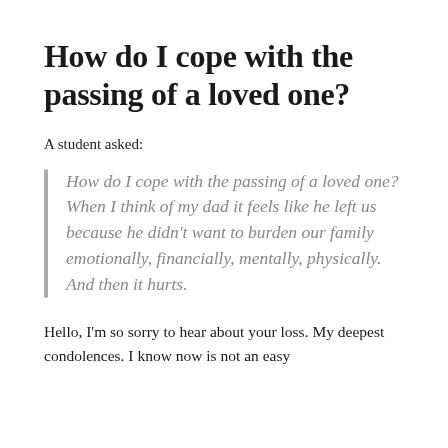How do I cope with the passing of a loved one?
A student asked:
How do I cope with the passing of a loved one? When I think of my dad it feels like he left us because he didn't want to burden our family emotionally, financially, mentally, physically. And then it hurts.
Hello, I'm so sorry to hear about your loss. My deepest condolences. I know now is not an easy